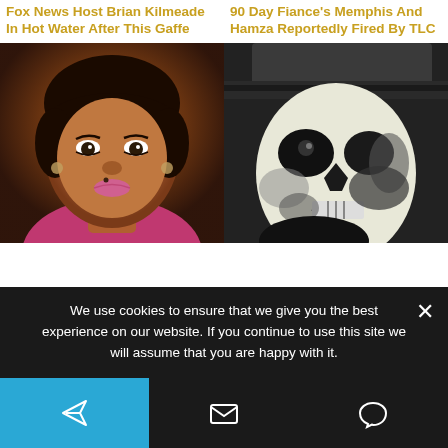Fox News Host Brian Kilmeade In Hot Water After This Gaffe
90 Day Fiance's Memphis And Hamza Reportedly Fired By TLC
[Figure (photo): Close-up photo of a Black woman with short hair, dramatic eye makeup, pink lipstick, and a pink floral necklace]
[Figure (photo): Person wearing skull face paint and a dark military-style cap, dramatic black and white makeup]
The Tragedy Of Fantasia Barrino Is Just Sad
Ghost's Real Story Is More Complex Than You Realized
We use cookies to ensure that we give you the best experience on our website. If you continue to use this site we will assume that you are happy with it.